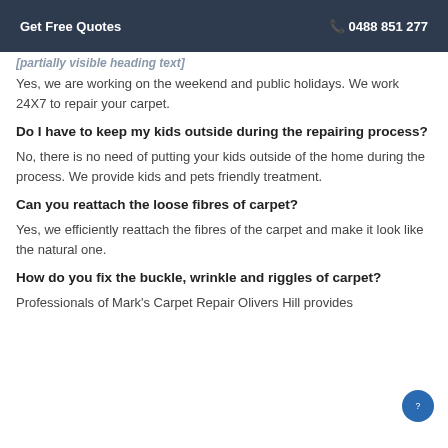Get Free Quotes   📞 0488 851 277
[partially visible heading]
Yes, we are working on the weekend and public holidays. We work 24X7 to repair your carpet.
Do I have to keep my kids outside during the repairing process?
No, there is no need of putting your kids outside of the home during the process. We provide kids and pets friendly treatment.
Can you reattach the loose fibres of carpet?
Yes, we efficiently reattach the fibres of the carpet and make it look like the natural one.
How do you fix the buckle, wrinkle and riggles of carpet?
Professionals of Mark's Carpet Repair Olivers Hill provides